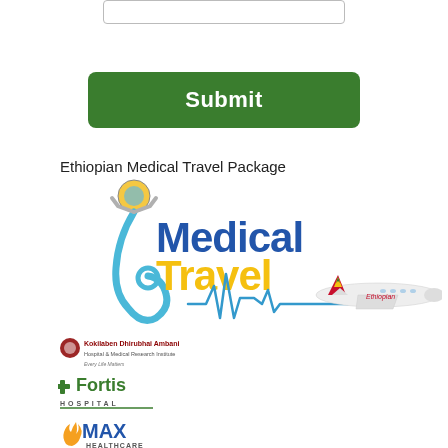[Figure (screenshot): Form input box (text field, partially visible at top)]
[Figure (other): Green Submit button]
Ethiopian Medical Travel Package
[Figure (logo): Ethiopian Medical Travel Package logo with stethoscope, heartbeat line, Ethiopian Airlines airplane, 'Medical Travel' text in blue and yellow]
[Figure (logo): Hospital partner logos: Kokilaben Dhirubhai Ambani Hospital, Fortis Hospital, Max Healthcare]